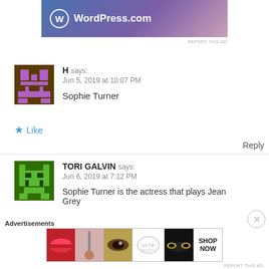[Figure (screenshot): WordPress.com advertisement banner with gradient background (blue to pink/purple) and WordPress logo]
REPORT THIS AD
H says:
Jun 5, 2019 at 10:07 PM

Sophie Turner
★ Like
Reply
TORI GALVIN says:
Jun 6, 2019 at 7:12 PM

Sophie Turner is the actress that plays Jean Grey
Advertisements
[Figure (screenshot): ULTA beauty advertisement banner with makeup imagery]
REPORT THIS AD